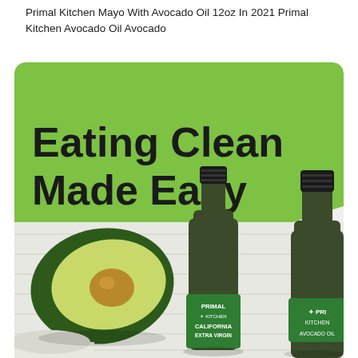Primal Kitchen Mayo With Avocado Oil 12oz In 2021 Primal Kitchen Avocado Oil Avocado
[Figure (photo): Product advertisement image for Primal Kitchen. Top portion has a rounded green rectangle background with bold black text 'Eating Clean Made Easy'. Below is a photo on a white wood surface showing a halved avocado, two dark green glass bottles labeled 'Primal Kitchen California Extra Virgin' avocado oil, and a partial view of a white jar at bottom left.]